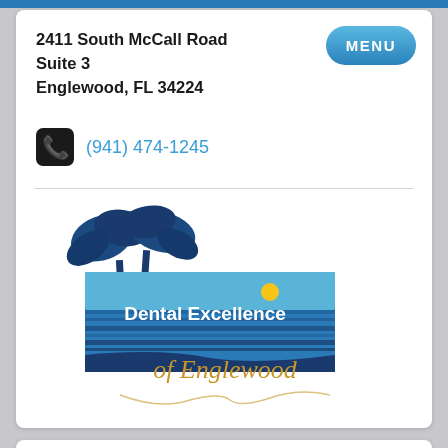2411 South McCall Road
Suite 3
Englewood, FL 34224
(941) 474-1245
[Figure (logo): Dental Excellence of Englewood logo with palm trees and ocean scene]
Post-Op Instructions